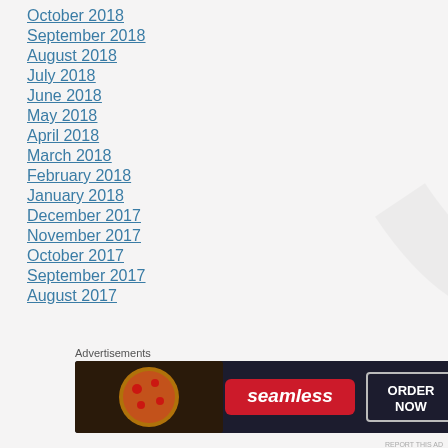October 2018
September 2018
August 2018
July 2018
June 2018
May 2018
April 2018
March 2018
February 2018
January 2018
December 2017
November 2017
October 2017
September 2017
August 2017
Advertisements
[Figure (other): Seamless food delivery advertisement banner with pizza image, Seamless logo, and ORDER NOW button]